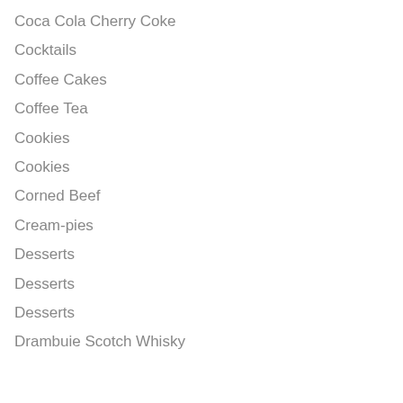Coca Cola Cherry Coke
Cocktails
Coffee Cakes
Coffee Tea
Cookies
Cookies
Corned Beef
Cream-pies
Desserts
Desserts
Desserts
Drambuie Scotch Whisky